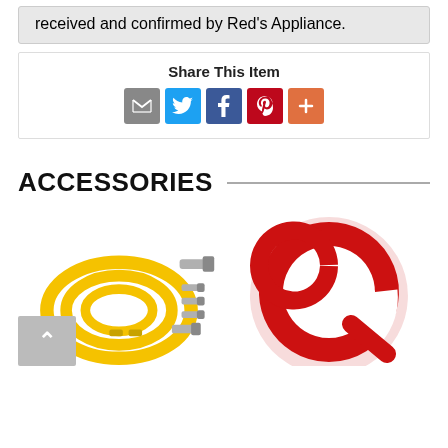received and confirmed by Red's Appliance.
Share This Item
[Figure (infographic): Social share icons: email (grey), Twitter (blue), Facebook (dark blue), Pinterest (red), More (orange)]
ACCESSORIES
[Figure (photo): Yellow gas connector hose kit with metal fittings and adapters]
[Figure (logo): Red circular logo with wrench/tool symbol in red on white background]